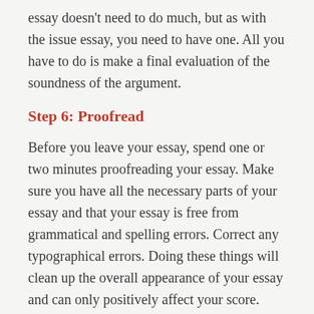essay doesn't need to do much, but as with the issue essay, you need to have one. All you have to do is make a final evaluation of the soundness of the argument.
Step 6: Proofread
Before you leave your essay, spend one or two minutes proofreading your essay. Make sure you have all the necessary parts of your essay and that your essay is free from grammatical and spelling errors. Correct any typographical errors. Doing these things will clean up the overall appearance of your essay and can only positively affect your score.